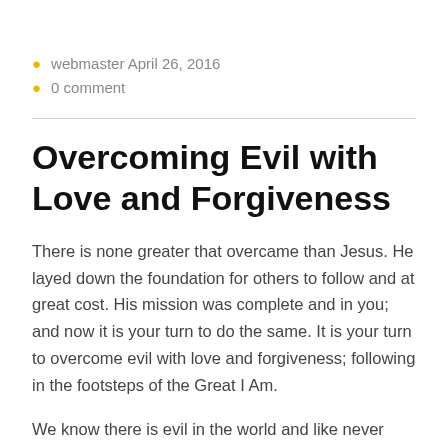webmaster April 26, 2016
0 comment
Overcoming Evil with Love and Forgiveness
There is none greater that overcame than Jesus. He layed down the foundation for others to follow and at great cost. His mission was complete and in you; and now it is your turn to do the same. It is your turn to overcome evil with love and forgiveness; following in the footsteps of the Great I Am.
We know there is evil in the world and like never before. Turn on the television and it's in the news; or